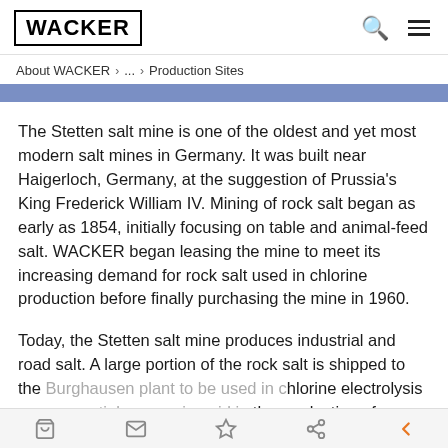WACKER
About WACKER > ... > Production Sites
The Stetten salt mine is one of the oldest and yet most modern salt mines in Germany. It was built near Haigerloch, Germany, at the suggestion of Prussia's King Frederick William IV. Mining of rock salt began as early as 1854, initially focusing on table and animal-feed salt. WACKER began leasing the mine to meet its increasing demand for rock salt used in chlorine production before finally purchasing the mine in 1960.
Today, the Stetten salt mine produces industrial and road salt. A large portion of the rock salt is shipped to the Burghausen plant to be used in chlorine electrolysis – an essential processing aid in the production of silicones,